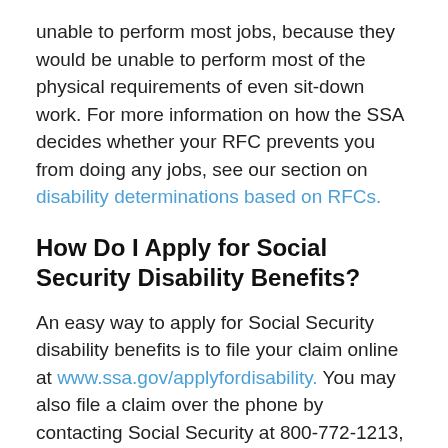unable to perform most jobs, because they would be unable to perform most of the physical requirements of even sit-down work. For more information on how the SSA decides whether your RFC prevents you from doing any jobs, see our section on disability determinations based on RFCs.
How Do I Apply for Social Security Disability Benefits?
An easy way to apply for Social Security disability benefits is to file your claim online at www.ssa.gov/applyfordisability. You may also file a claim over the phone by contacting Social Security at 800-772-1213, but be prepared for long wait times. For more information, please see our article